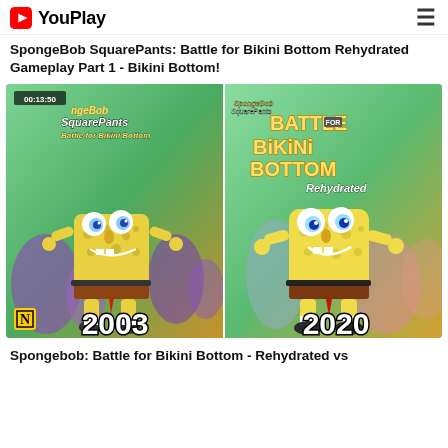YouPlay
SpongeBob SquarePants: Battle for Bikini Bottom Rehydrated Gameplay Part 1 - Bikini Bottom!
[Figure (screenshot): Side-by-side comparison thumbnail showing SpongeBob SquarePants: Battle for Bikini Bottom 2003 (left, with timestamp 00:13:50) vs Rehydrated 2020 (right)]
Spongebob: Battle for Bikini Bottom - Rehydrated vs